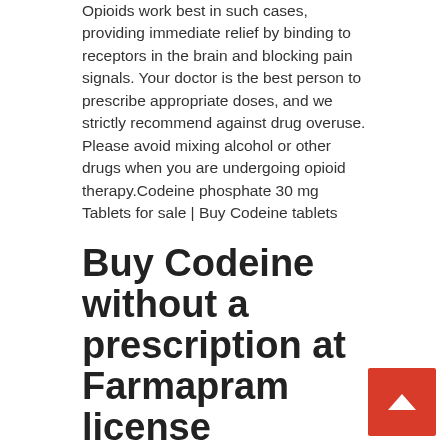Opioids work best in such cases, providing immediate relief by binding to receptors in the brain and blocking pain signals. Your doctor is the best person to prescribe appropriate doses, and we strictly recommend against drug overuse. Please avoid mixing alcohol or other drugs when you are undergoing opioid therapy.Codeine phosphate 30 mg Tablets for sale | Buy Codeine tablets
Buy Codeine without a prescription at Farmapram license pharmacy
How would you feel when you walk up to a drugstore and are turned down for not having a piece of paper? Prescriptions shouldn't limit your ability to access medic. We strongly believe in this notion and offer Codeine online without any correspondence. Quality has always been our pillar of strength, and we put enough effort and